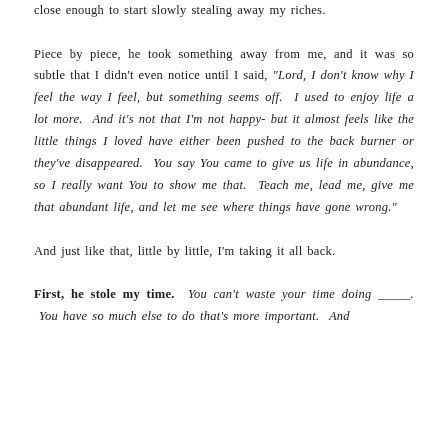close enough to start slowly stealing away my riches.
Piece by piece, he took something away from me, and it was so subtle that I didn't even notice until I said, "Lord, I don't know why I feel the way I feel, but something seems off. I used to enjoy life a lot more. And it's not that I'm not happy- but it almost feels like the little things I loved have either been pushed to the back burner or they've disappeared. You say You came to give us life in abundance, so I really want You to show me that. Teach me, lead me, give me that abundant life, and let me see where things have gone wrong."
And just like that, little by little, I'm taking it all back.
First, he stole my time. You can't waste your time doing _____. You have so much else to do that's more important. And